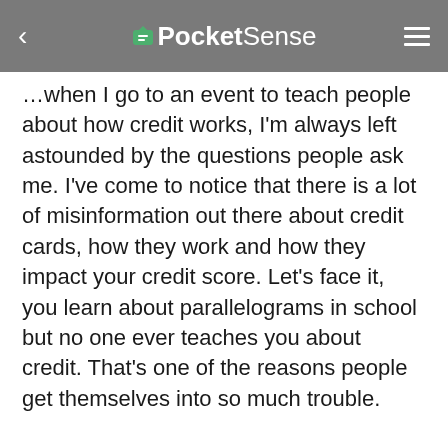PocketSense
…when I go to an event to teach people about how credit works, I'm always left astounded by the questions people ask me. I've come to notice that there is a lot of misinformation out there about credit cards, how they work and how they impact your credit score. Let's face it, you learn about parallelograms in school but no one ever teaches you about credit. That's one of the reasons people get themselves into so much trouble.